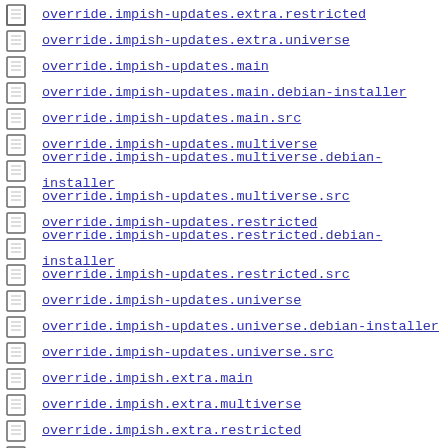override.impish-updates.extra.restricted
override.impish-updates.extra.universe
override.impish-updates.main
override.impish-updates.main.debian-installer
override.impish-updates.main.src
override.impish-updates.multiverse
override.impish-updates.multiverse.debian-installer
override.impish-updates.multiverse.src
override.impish-updates.restricted
override.impish-updates.restricted.debian-installer
override.impish-updates.restricted.src
override.impish-updates.universe
override.impish-updates.universe.debian-installer
override.impish-updates.universe.src
override.impish.extra.main
override.impish.extra.multiverse
override.impish.extra.restricted
override.impish.extra.universe
override.impish.main